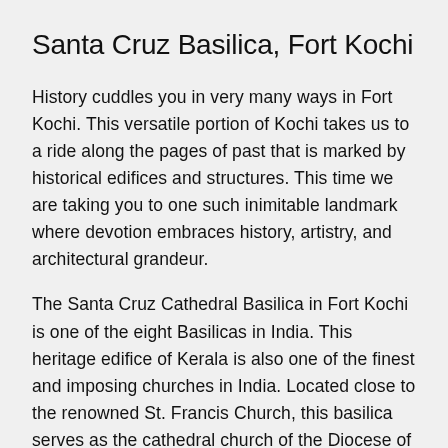Santa Cruz Basilica, Fort Kochi
History cuddles you in very many ways in Fort Kochi. This versatile portion of Kochi takes us to a ride along the pages of past that is marked by historical edifices and structures. This time we are taking you to one such inimitable landmark where devotion embraces history, artistry, and architectural grandeur.
The Santa Cruz Cathedral Basilica in Fort Kochi is one of the eight Basilicas in India. This heritage edifice of Kerala is also one of the finest and imposing churches in India. Located close to the renowned St. Francis Church, this basilica serves as the cathedral church of the Diocese of Cochin, the second oldest Diocese of India.
The history of Santa Cruz Cathedral Basilica dates